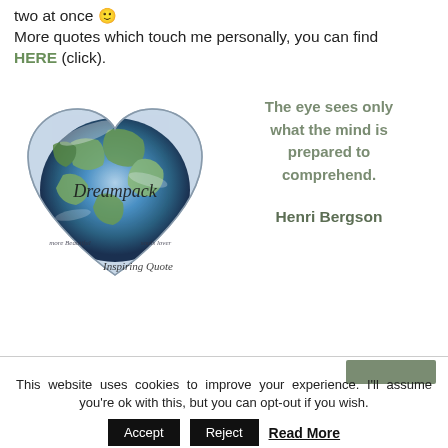two at once 🙂
More quotes which touch me personally, you can find HERE (click).
[Figure (logo): Dreampack heart-shaped logo with earth image, text 'Dreampack', 'Inspiring Quote', 'more Beautiful', 'souls lover']
The eye sees only what the mind is prepared to comprehend.

Henri Bergson
This website uses cookies to improve your experience. I'll assume you're ok with this, but you can opt-out if you wish.
Accept  Reject  Read More